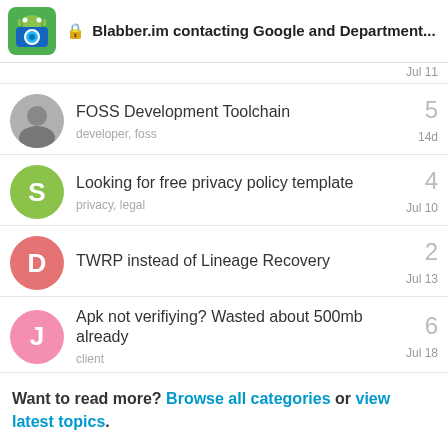🔒 Blabber.im contacting Google and Department...
Jul 11
FOSS Development Toolchain
developer, foss
5
14d
Looking for free privacy policy template
privacy, legal
4
Jul 10
TWRP instead of Lineage Recovery
2
Jul 13
Apk not verifiying? Wasted about 500mb already
client
6
Jul 18
Want to read more? Browse all categories or view latest topics.